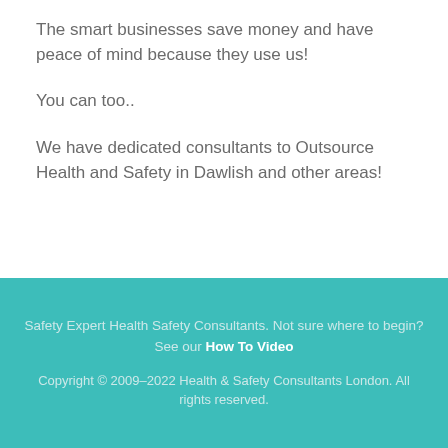The smart businesses save money and have peace of mind because they use us!
You can too..
We have dedicated consultants to Outsource Health and Safety in Dawlish and other areas!
Safety Expert Health Safety Consultants. Not sure where to begin? See our How To Video
Copyright © 2009–2022 Health & Safety Consultants London. All rights reserved.